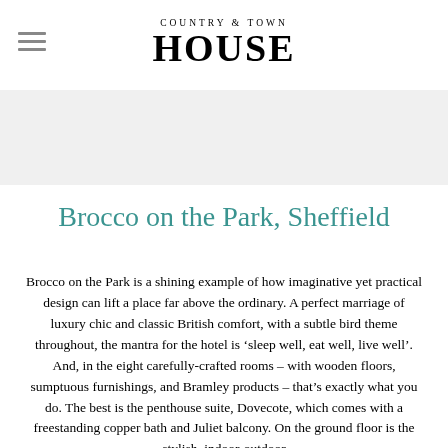COUNTRY & TOWN HOUSE
Brocco on the Park, Sheffield
Brocco on the Park is a shining example of how imaginative yet practical design can lift a place far above the ordinary. A perfect marriage of luxury chic and classic British comfort, with a subtle bird theme throughout, the mantra for the hotel is ‘sleep well, eat well, live well’. And, in the eight carefully-crafted rooms – with wooden floors, sumptuous furnishings, and Bramley products – that’s exactly what you do. The best is the penthouse suite, Dovecote, which comes with a freestanding copper bath and Juliet balcony. On the ground floor is the stylish, indoor-outdoor